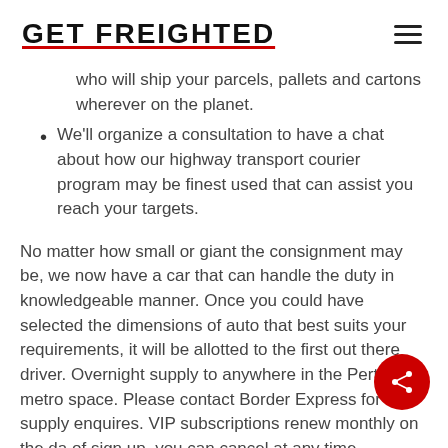GET FREIGHTED
who will ship your parcels, pallets and cartons wherever on the planet.
We'll organize a consultation to have a chat about how our highway transport courier program may be finest used that can assist you reach your targets.
No matter how small or giant the consignment may be, we now have a car that can handle the duty in knowledgeable manner. Once you could have selected the dimensions of auto that best suits your requirements, it will be allotted to the first out there driver. Overnight supply to anywhere in the Perth metro space. Please contact Border Express for supply enquires. VIP subscriptions renew monthly on the da of sign up, you can cancel at any time, nevertheless the monthly subscription